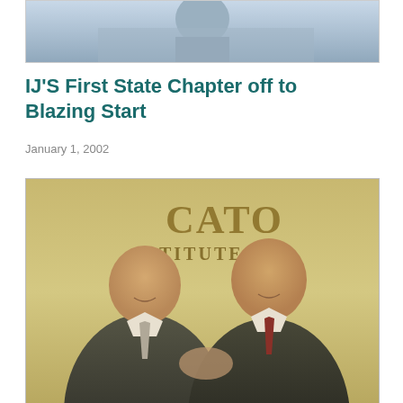[Figure (photo): Partial top photo showing a person outdoors near a vehicle]
IJ'S First State Chapter off to Blazing Start
January 1, 2002
[Figure (photo): Two men in suits shaking hands and smiling in front of a Cato Institute sign. Black and white/sepia photograph.]